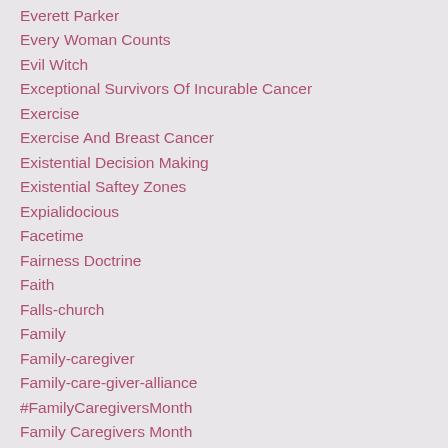Everett Parker
Every Woman Counts
Evil Witch
Exceptional Survivors Of Incurable Cancer
Exercise
Exercise And Breast Cancer
Existential Decision Making
Existential Saftey Zones
Expialidocious
Facetime
Fairness Doctrine
Faith
Falls-church
Family
Family-caregiver
Family-care-giver-alliance
#FamilyCaregiversMonth
Family Caregivers Month
Family-caregiving